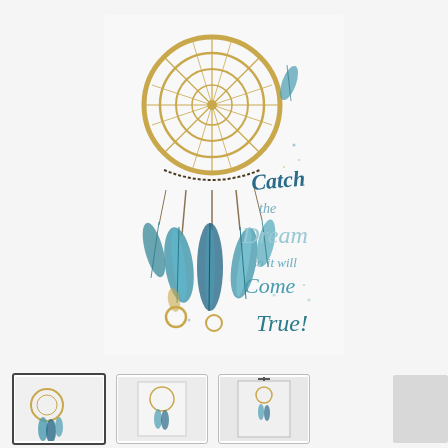[Figure (illustration): A watercolor illustration of a dreamcatcher with gold hoop and blue/teal feathers hanging down, on a light background with cursive text reading 'Catch the Dream so it will Come True!']
[Figure (photo): Thumbnail 1 (selected): Close-up of the dreamcatcher illustration, front face]
[Figure (photo): Thumbnail 2: Side or back view of the canvas product]
[Figure (photo): Thumbnail 3: Product hanging on wall showing bracket/hanger]